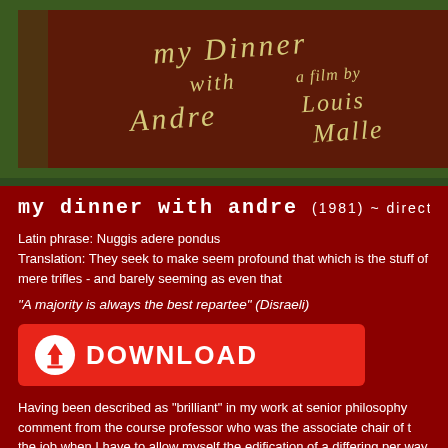[Figure (photo): Movie title card for 'My Dinner with Andre' on dark reddish-brown background with handwritten-style cream/yellow text. Directed by Louis Malle.]
my dinner with andre (1981) ~ direct
Latin phrase: Nuggis adere pondus
Translation: They seek to make seem profound that which is the stuff of mere trifles - and barely seeming as even that
"A majority is always the best repartee" (Disraeli)
[Figure (other): Red download button with downward arrow icon and text DOWNLOAD]
Having been described as "brilliant" in my work at senior philosophy comment from the course professor who was the associate chair of t the job when I have to allow myself the edification of a differing per way of an argument needing rebuttal and correction (if you will par intentioned I put it to you). As such I have to tell you that I have o